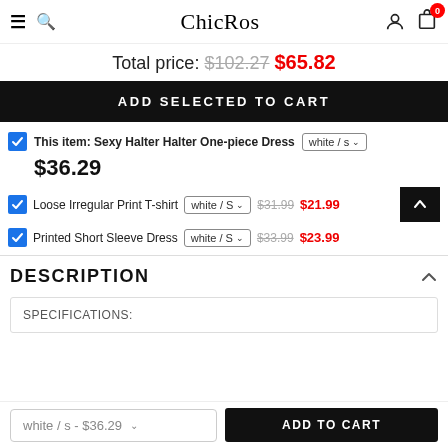ChicRos
Total price: $102.27 $65.82
ADD SELECTED TO CART
This item: Sexy Halter Halter One-piece Dress  white / s   $36.29
Loose Irregular Print T-shirt  white / S   $31.99  $21.99
Printed Short Sleeve Dress  white / S   $33.99  $23.99
DESCRIPTION
SPECIFICATIONS:
white / s - $36.29   ADD TO CART